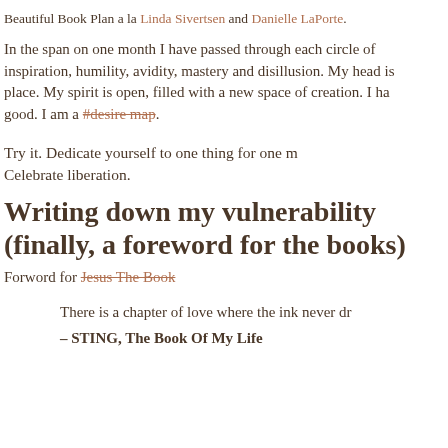Beautiful Book Plan a la Linda Sivertsen and Danielle LaPorte.
In the span on one month I have passed through each circle of inspiration, humility, avidity, mastery and disillusion. My head is place. My spirit is open, filled with a new space of creation. I ha good. I am a #desire map.
Try it. Dedicate yourself to one thing for one m Celebrate liberation.
Writing down my vulnerability (finally, a foreword for the books)
Forword for Jesus The Book
There is a chapter of love where the ink never dr
– STING, The Book Of My Life